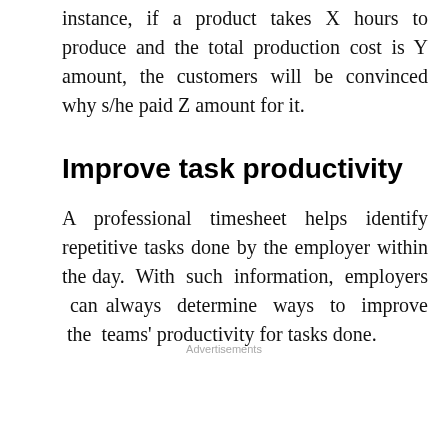instance, if a product takes X hours to produce and the total production cost is Y amount, the customers will be convinced why s/he paid Z amount for it.
Improve task productivity
A professional timesheet helps identify repetitive tasks done by the employer within the day. With such information, employers can always determine ways to improve the teams' productivity for tasks done.
Advertisements